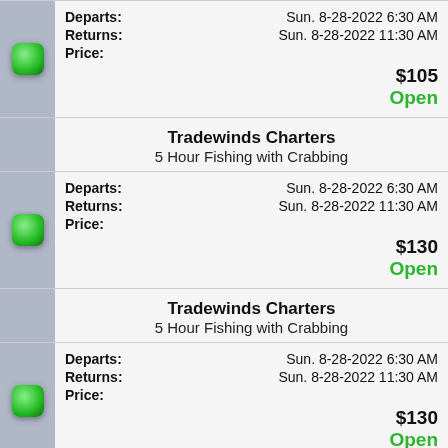| [partial top] Departs: Sun. 8-28-2022 6:30 AM | Returns: Sun. 8-28-2022 11:30 AM | Price: $105 | Open |
| Tradewinds Charters | 5 Hour Fishing with Crabbing |
| Departs: Sun. 8-28-2022 6:30 AM | Returns: Sun. 8-28-2022 11:30 AM | Price: $130 | Open |
| Tradewinds Charters | 5 Hour Fishing with Crabbing |
| Departs: Sun. 8-28-2022 6:30 AM | Returns: Sun. 8-28-2022 11:30 AM | Price: $130 | Open |
| Tradewinds Charters | 1 Hour Whale Watch |
| Departs: Sun. 8-28-2022 12:00 PM | Returns: Sun. 8-28-2022 1:00 PM | Price: $30 |